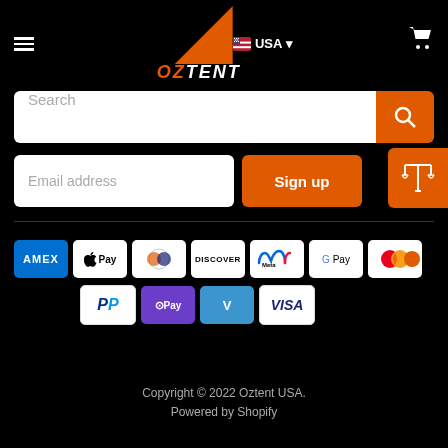[Figure (logo): Oztent logo with orange shark-fin triangle above orange italic text OZTENT on black background, with USA region selector and cart icon in header]
[Figure (screenshot): Search bar with white input field and orange search button]
[Figure (screenshot): Email address input and Sign up button with orange scale/legal icon]
[Figure (infographic): Payment method icons: Amex, Apple Pay, Diners Club, Discover, Meta Pay, Google Pay, Mastercard in row 1; PayPal, OPay, Venmo, Visa in row 2]
Copyright © 2022 Oztent USA.
Powered by Shopify